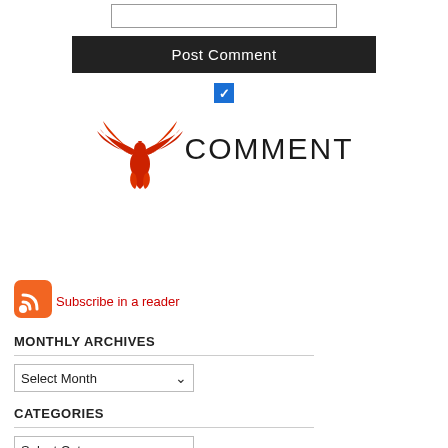[Figure (other): Text input box (comment form field)]
[Figure (other): Post Comment button - dark/black background with white text]
[Figure (other): Blue checkbox with white checkmark]
[Figure (logo): CommentLuv logo - red phoenix bird with wings spread and text COMMENT to the right]
[Figure (other): RSS feed icon - orange square with white RSS symbol]
Subscribe in a reader
MONTHLY ARCHIVES
[Figure (other): Select Month dropdown]
CATEGORIES
[Figure (other): Select Category dropdown]
TAGS
anniversary babywearing beach